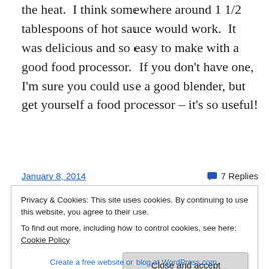the heat.  I think somewhere around 1 1/2 tablespoons of hot sauce would work.  It was delicious and so easy to make with a good food processor.  If you don't have one, I'm sure you could use a good blender, but get yourself a food processor – it's so useful!
January 8, 2014
7 Replies
Privacy & Cookies: This site uses cookies. By continuing to use this website, you agree to their use.
To find out more, including how to control cookies, see here: Cookie Policy
Close and accept
Create a free website or blog at WordPress.com.